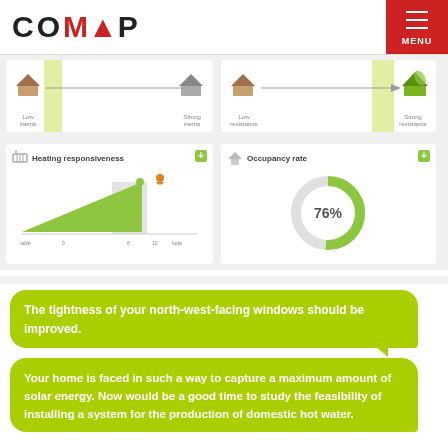COMAP MENU
[Figure (infographic): Thermal inertia slider from Low inertia (house icon left) to Strong inertia (house icon right) with yellow-green highlight bar on left]
[Figure (infographic): Resistance slider from Low resistance (house icon left) to Strong resistance (green house icon right) with yellow-green highlight bar on right]
[Figure (infographic): Heating responsiveness widget showing a green triangle ramp chart with axis labels: table, 0, 8, 10, forte, and a pin marker at value 8]
[Figure (donut-chart): Occupancy rate]
The tightness of your north-west-facing windows should be improved.
Your home is faced in such a way to capture a maximum amount of solar energy. Now would be a good time to study the feasibility of installing a system for the production of domestic hot water.